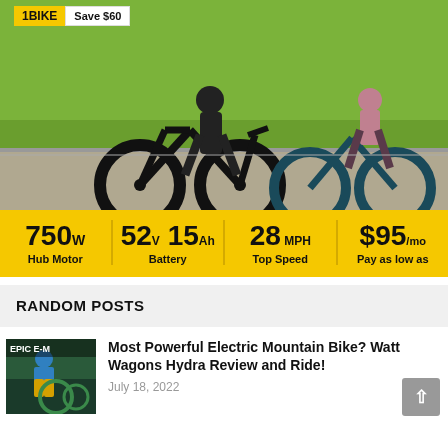[Figure (photo): Advertisement banner showing two people with electric bikes on a sunny day with green grass background. Yellow badge showing '1BIKE' and 'Save $60' in top left.]
[Figure (infographic): Yellow specs bar showing: 750W Hub Motor, 52v 15Ah Battery, 28 MPH Top Speed, $95/mo Pay as low as]
RANDOM POSTS
[Figure (photo): Thumbnail image of a person with a blue shirt and yellow pants next to an electric mountain bike, with 'EPIC E-M' text overlay]
Most Powerful Electric Mountain Bike? Watt Wagons Hydra Review and Ride!
July 18, 2022